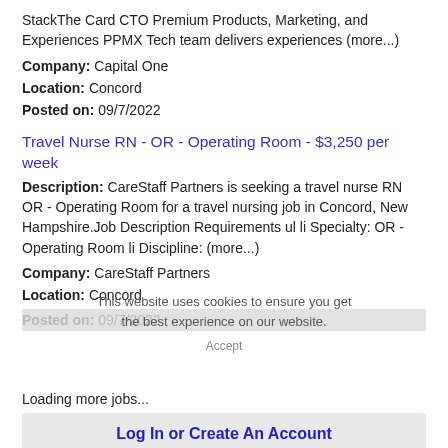StackThe Card CTO Premium Products, Marketing, and Experiences PPMX Tech team delivers experiences (more...)
Company: Capital One
Location: Concord
Posted on: 09/7/2022
Travel Nurse RN - OR - Operating Room - $3,250 per week
Description: CareStaff Partners is seeking a travel nurse RN OR - Operating Room for a travel nursing job in Concord, New Hampshire.Job Description Requirements ul li Specialty: OR - Operating Room li Discipline: (more...)
Company: CareStaff Partners
Location: Concord
Posted on: 09/7/2022
This website uses cookies to ensure you get the best experience on our website.
Loading more jobs...
Log In or Create An Account
Username: